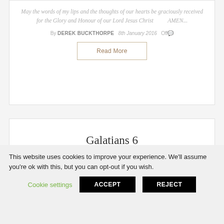May the words of my lips and the thoughts of our hearts be graciously received for the Glory and Honour of our Lord Jesus Christ        AMEN...
By DEREK BUCKTHORPE  8th January 2016  Off
Read More
Galatians 6
Galatians
This website uses cookies to improve your experience. We'll assume you're ok with this, but you can opt-out if you wish.
Cookie settings  ACCEPT  REJECT